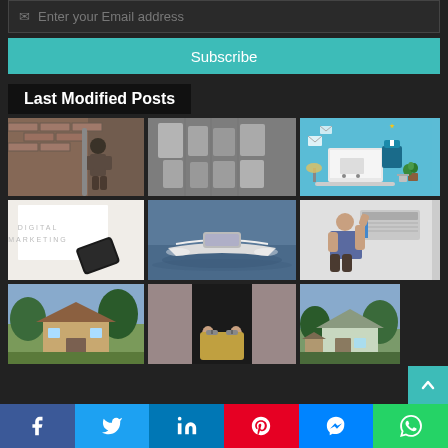Enter your Email address
Subscribe
Last Modified Posts
[Figure (photo): Man working on brick wall guttering/drainage pipe]
[Figure (photo): Black and white photo of bags displayed in shop window]
[Figure (illustration): Blue background illustration of email marketing concept with mailbox, laptop, shopping cart]
[Figure (photo): Digital Marketing text on white paper with phone]
[Figure (photo): Speedboat on water]
[Figure (photo): Man servicing a wall-mounted air conditioning unit]
[Figure (photo): Small wooden shed/cabin with green trees]
[Figure (photo): Person holding a shopping bag, torso shot]
[Figure (photo): House/cabin with trees and shed]
Facebook Twitter LinkedIn Pinterest Messenger WhatsApp